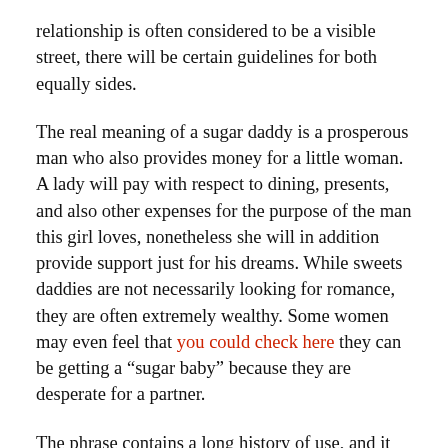relationship is often considered to be a visible street, there will be certain guidelines for both equally sides.
The real meaning of a sugar daddy is a prosperous man who also provides money for a little woman. A lady will pay with respect to dining, presents, and also other expenses for the purpose of the man this girl loves, nonetheless she will in addition provide support just for his dreams. While sweets daddies are not necessarily looking for romance, they are often extremely wealthy. Some women may even feel that you could check here they can be getting a “sugar baby” because they are desperate for a partner.
The phrase contains a long history of use, and it originated in the sixteenth century, when society earliest recognized the status pounds. In the modern world, it includes come to mean men who will be wealthy enough to buy a young woman’s like. This term was used to explain the abundant, successful guys who woo young women of all ages for money. Today, this can be a common part of the dating industry. The meaning of a sugardaddy is a bit more complicated than the classic